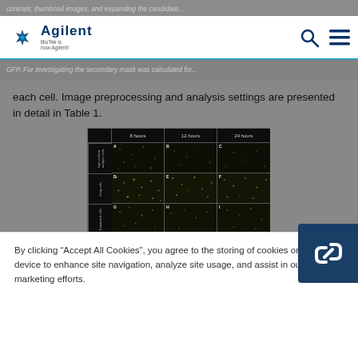Agilent Technologies - BioTek is now Agilent!
each cell. Image preprocessing and analysis settings are presented in detail in Table 1.
[Figure (photo): Grid of fluorescence microscopy images showing apoptotic and necrotic cells at 8 hours, 12 hours, and 24 hours. Rows show: high-content analysis cells, living cells, expanded cells, apoptotic cells, necrotic cells. Images show dark background with sparse bright spots.]
Figure 1. Image analysis of apoptotic and necrotic
By clicking “Accept All Cookies”, you agree to the storing of cookies on your device to enhance site navigation, analyze site usage, and assist in our marketing efforts.